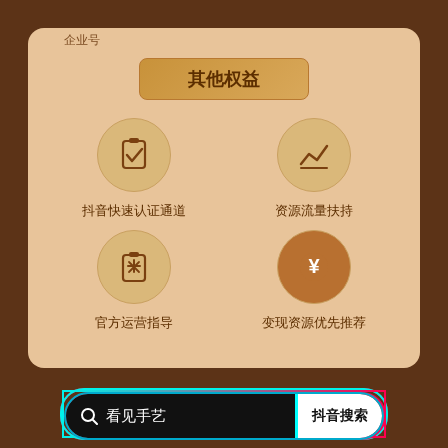企业号
其他权益
[Figure (illustration): Icon: clipboard with checkmark, representing Douyin fast certification channel]
抖音快速认证通道
[Figure (illustration): Icon: trend/graph line, representing resource flow support]
资源流量扶持
[Figure (illustration): Icon: badge/certificate with X, representing official operations guidance]
官方运营指导
[Figure (illustration): Icon: Yuan currency symbol in filled circle, representing monetization resource priority recommendation]
变现资源优先推荐
🔍 看见手艺  抖音搜索